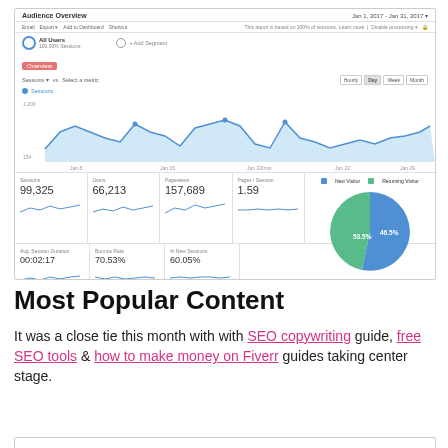[Figure (screenshot): Google Analytics Audience Overview screenshot showing Jan 1, 2017 – Jan 31, 2017. Sessions line chart trending with values around 500–1200. Metrics: Sessions 99,325 | Users 66,213 | Pageviews 157,689 | Pages/Session 1.59 | Avg. Session Duration 00:02:17 | Bounce Rate 70.53% | % New Sessions 60.05%. Pie chart shows New Visitor (~54%) vs Returning Visitor (~46%).]
Most Popular Content
It was a close tie this month with with SEO copywriting guide, free SEO tools & how to make money on Fiverr guides taking center stage.